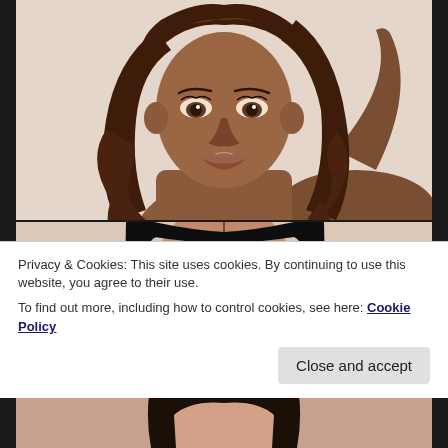[Figure (illustration): Digital avatar/illustration of a woman with long wavy brown hair, dark skin tone, wearing no top (shoulders bare), hand raised behind head, against light beige background]
[Figure (illustration): Digital avatar/illustration of a woman with straight black hair pulled back, medium skin tone, looking forward, against light beige background]
[Figure (illustration): Partially visible digital avatar/illustration of a third character at the bottom of the page]
Privacy & Cookies: This site uses cookies. By continuing to use this website, you agree to their use.
To find out more, including how to control cookies, see here: Cookie Policy
Close and accept